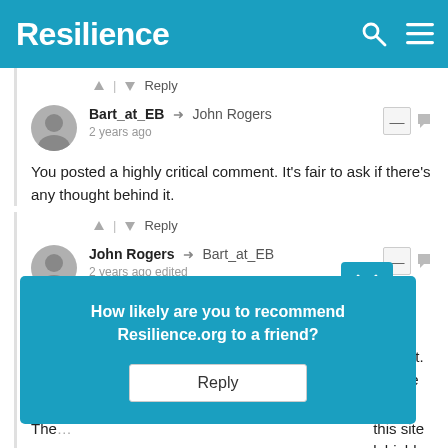Resilience
Bart_at_EB → John Rogers
2 years ago
You posted a highly critical comment. It's fair to ask if there's any thought behind it.
John Rogers → Bart_at_EB
2 years ago edited
Since you need an explanation for poking fun at buffoons, the thought, which is self-evident, behind my criticism is contained in virtually every article written by a climatologist. and in virtually every newspaper article addressing climate change,
The… this site on… d, highly reg…
[Figure (screenshot): Modal overlay on teal background: 'How likely are you to recommend Resilience.org to a friend?' with a Reply button]